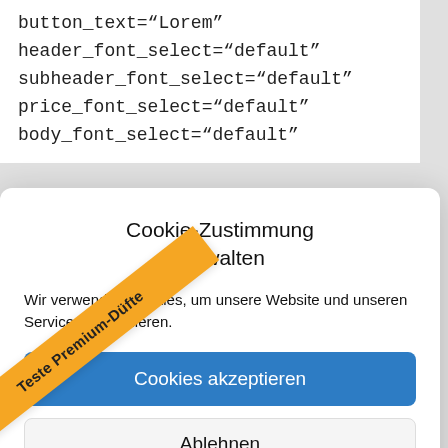button_text="Lorem"
header_font_select="default"
subheader_font_select="default"
price_font_select="default"
body_font_select="default"
Cookie-Zustimmung verwalten
Wir verwenden Cookies, um unsere Website und unseren Service zu optimieren.
Cookies akzeptieren
Ablehnen
Einstellungen anzeigen
[Figure (other): Orange diagonal banner with text 'Teste Premium-Düfte']